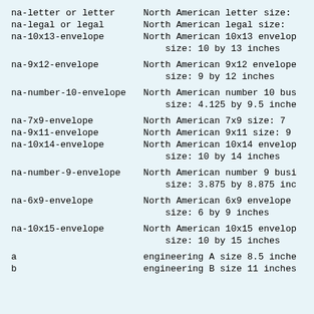| Code | Description |
| --- | --- |
| na-letter or letter | North American letter size: |
| na-legal or legal | North American legal size: |
| na-10x13-envelope | North American 10x13 envelope size: 10 by 13 inches |
| na-9x12-envelope | North American 9x12 envelope size: 9 by 12 inches |
| na-number-10-envelope | North American number 10 bus size: 4.125 by 9.5 inches |
| na-7x9-envelope | North American 7x9 size: 7 |
| na-9x11-envelope | North American 9x11 size: 9 |
| na-10x14-envelope | North American 10x14 envelope size: 10 by 14 inches |
| na-number-9-envelope | North American number 9 busi size: 3.875 by 8.875 inc |
| na-6x9-envelope | North American 6x9 envelope size: 6 by 9 inches |
| na-10x15-envelope | North American 10x15 envelope size: 10 by 15 inches |
| a | engineering A size 8.5 inches |
| b | engineering B size 11 inches |